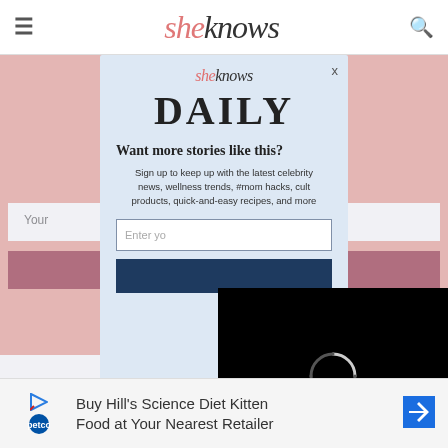sheknows
[Figure (screenshot): Newsletter signup section with pink background showing 'Never Miss a Thing' heading, email input field, and subscribe button. A 'sheknows DAILY' modal popup overlay is shown on top with text 'Want more stories like this? Sign up to keep up with the latest celebrity news, wellness trends, #mom hacks, cult products, quick-and-easy recipes, and more'. An email input field and dark blue subscribe button appear in the modal. A black video player with loading spinner and 13:52 timestamp overlaps the right side. A Petco ad banner appears at the bottom reading 'Buy Hill's Science Diet Kitten Food at Your Nearest Retailer'.]